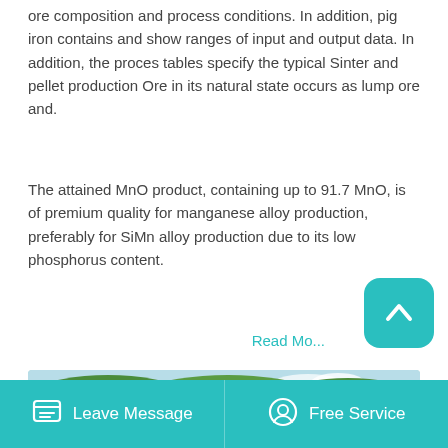ore composition and process conditions. In addition, pig iron contains and show ranges of input and output data. In addition, the proces tables specify the typical Sinter and pellet production Ore in its natural state occurs as lump ore and.
The attained MnO product, containing up to 91.7 MnO, is of premium quality for manganese alloy production, preferably for SiMn alloy production due to its low phosphorus content.
Read Mo...
[Figure (photo): Outdoor mining or mineral processing facility with green forested hills in the background, industrial machinery and conveyors in the foreground.]
Leave Message | Free Service